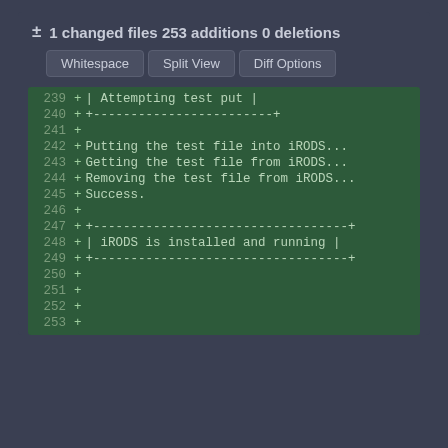± 1 changed files 253 additions 0 deletions
[Figure (screenshot): Code diff view showing lines 239-253 with additions marked by + signs, including text about iRODS file operations and success/completion messages]
239 + | Attempting test put |
240 + +------------------------+
241 +
242 + Putting the test file into iRODS...
243 + Getting the test file from iRODS...
244 + Removing the test file from iRODS...
245 + Success.
246 +
247 + +----------------------------------+
248 + | iRODS is installed and running |
249 + +----------------------------------+
250 +
251 +
252 +
253 +